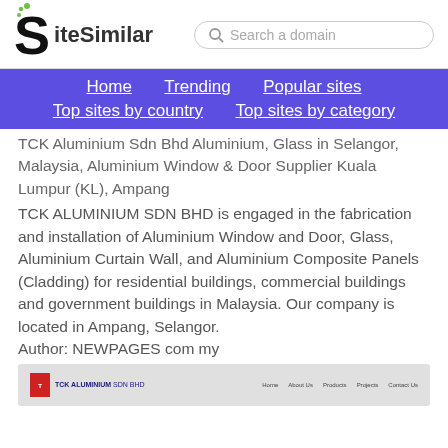SiteSimilar — Search a domain
Home | Trending | Popular sites | Top sites by country | Top sites by category
TCK Aluminium Sdn Bhd Aluminium, Glass in Selangor, Malaysia, Aluminium Window & Door Supplier Kuala Lumpur (KL), Ampang
TCK ALUMINIUM SDN BHD is engaged in the fabrication and installation of Aluminium Window and Door, Glass, Aluminium Curtain Wall, and Aluminium Composite Panels (Cladding) for residential buildings, commercial buildings and government buildings in Malaysia. Our company is located in Ampang, Selangor.
Author: NEWPAGES com my
[Figure (screenshot): Screenshot thumbnail of TCK Aluminium SDN BHD website showing logo and navigation bar]